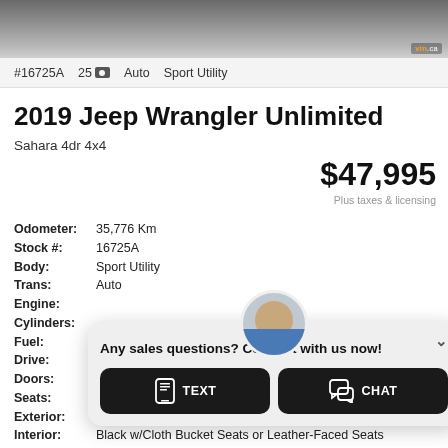[Figure (photo): Partial photo of a Jeep Wrangler vehicle, cropped at top, showing wheels and undercarriage area]
#16725A   25   Auto   Sport Utility
2019 Jeep Wrangler Unlimited
Sahara 4dr 4x4
$47,995
Plus taxes & licensing
Odometer: 35,776 Km
Stock #: 16725A
Body: Sport Utility
Trans: Auto
Engine:
Cylinders:
Fuel:
Drive:
Doors:
Seats:
Exterior:
Interior: Black w/Cloth Bucket Seats or Leather-Faced Seats
Any sales questions? Connect with us now!
TEXT
CHAT